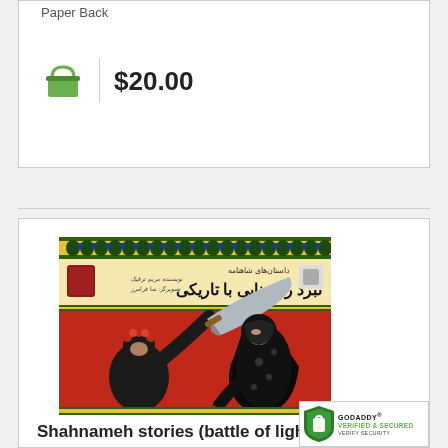Paper Back
$20.00
[Figure (photo): Book cover of Shahnameh stories (battle of light and darkness) with Persian illustration showing two warriors in black fighting on red background with decorative border]
Shahnameh stories (battle of light and darkness)